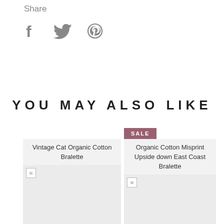Share
[Figure (other): Social share icons: Facebook (f), Twitter (bird), Pinterest (P)]
YOU MAY ALSO LIKE
[Figure (photo): Product image placeholder for Vintage Cat Organic Cotton Bralette]
Vintage Cat Organic Cotton Bralette
[Figure (photo): Product image placeholder for Organic Cotton Misprint Upside down East Coast Bralette with SALE badge]
Organic Cotton Misprint Upside down East Coast Bralette